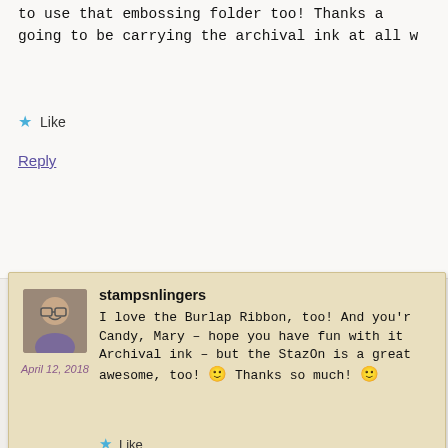to use that embossing folder too! Thanks a going to be carrying the archival ink at all w
★ Like
Reply
stampsnlingers
April 12, 2018
I love the Burlap Ribbon, too! And you'r Candy, Mary – hope you have fun with it Archival ink – but the StazOn is a great awesome, too! 🙂 Thanks so much! 🙂
★ Like
Reply
Susan K
Great first look at the stamp set in action